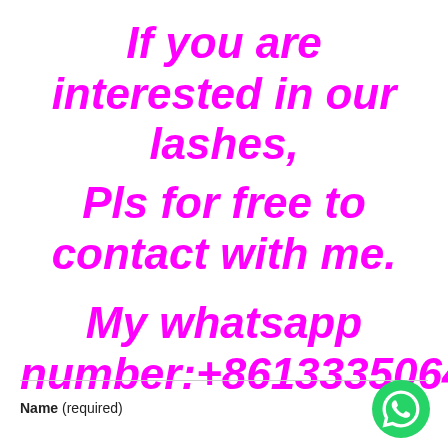If you are interested in our lashes,
Pls for free to contact with me.
My whatsapp number:+8613335064614
[Figure (logo): WhatsApp logo icon — green circle with white phone handset]
Name (required)